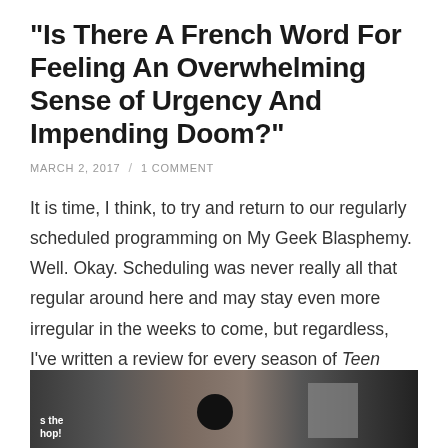“Is There A French Word For Feeling An Overwhelming Sense of Urgency And Impending Doom?”
MARCH 2, 2017 / 1 COMMENT
It is time, I think, to try and return to our regularly scheduled programming on My Geek Blasphemy. Well. Okay. Scheduling was never really all that regular around here and may stay even more irregular in the weeks to come, but regardless, I’ve written a review for every season of Teen Wolf, and despite a necessary delay, I’m not about to stop now.
[Figure (photo): Dark photograph showing what appears to be a TV show scene with multiple figures and objects on shelves, partially visible at the bottom of the page]